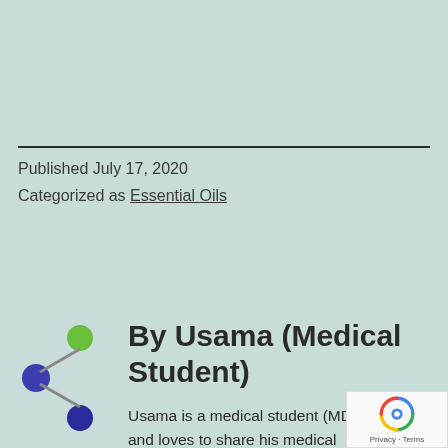Published July 17, 2020
Categorized as Essential Oils
[Figure (logo): Share/network icon logo with green and blue/purple nodes connected by lines forming a share symbol]
By Usama (Medical Student)
Usama is a medical student (MD) and loves to share his medical knowledge. He